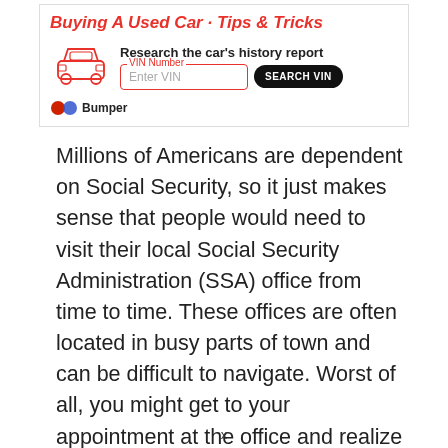[Figure (other): Bumper advertisement banner showing a car history report search tool with VIN number input and Search VIN button, Bumper logo]
Millions of Americans are dependent on Social Security, so it just makes sense that people would need to visit their local Social Security Administration (SSA) office from time to time. These offices are often located in busy parts of town and can be difficult to navigate. Worst of all, you might get to your appointment at the office and realize that you do not have the proper documentation to complete your transaction. You have come to the right place because we will tell you everything you need to know about your local Social Security office as well as what types of services they offer, what services you can complete online, and what you need to bring
x